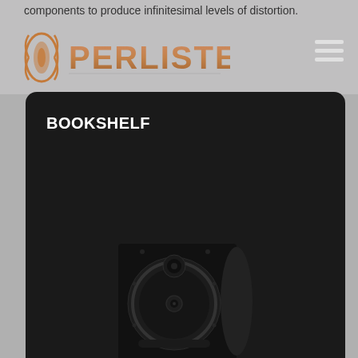components to produce infinitesimal levels of distortion.
[Figure (logo): Perlisten audio brand logo with copper/bronze lettering and speaker icon]
BOOKSHELF
[Figure (photo): Close-up front view of a black Perlisten bookshelf speaker showing the driver array on a dark panel background]